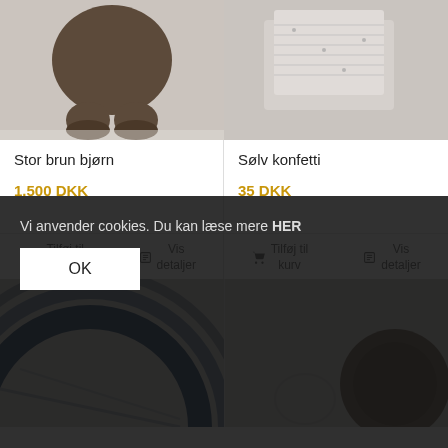[Figure (photo): Product image of a brown bear stuffed animal (feet visible), light grey background]
Stor brun bjørn
1.500 DKK
Tilføj til kurv  Vis detaljer
[Figure (photo): Product image of silver confetti decoration item on beige background]
Sølv konfetti
35 DKK
Tilføj til kurv  Vis detaljer
[Figure (photo): Product image bottom-left: dark blue circular/woven item]
[Figure (photo): Product image bottom-right: dark round object on light background]
Vi anvender cookies. Du kan læse mere HER
OK